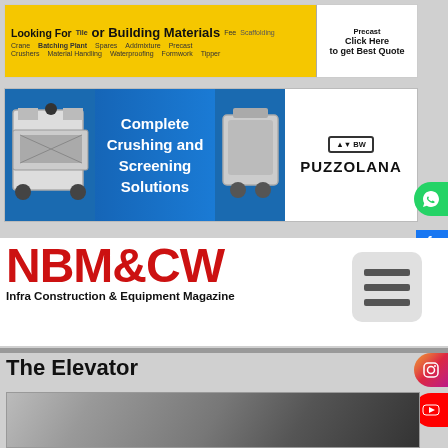[Figure (screenshot): Yellow banner advertisement: 'Looking For or Building Materials' with tags: Crane, Crushers, Batching Plant, Tile, Spares, Addmixture, Precast, Scaffolding, Fee, Tipper, Material Handling, Waterproofing, Formwork — Click Here to get Best Quote]
[Figure (screenshot): Blue banner advertisement for Puzzolana: 'Complete Crushing and Screening Solutions' with Puzzolana logo and images of crushing machinery]
[Figure (logo): NBM&CW - Infra Construction & Equipment Magazine logo in red bold text with hamburger menu icon]
The Elevator
[Figure (photo): Black and white photo of industrial machinery, likely an elevator or industrial equipment with cylindrical components and structural framework]